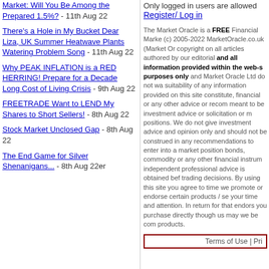Market: Will You Be Among the Prepared 1.5%? - 11th Aug 22
There's a Hole in My Bucket Dear Liza, UK Summer Heatwave Plants Watering Problem Song - 11th Aug 22
Why PEAK INFLATION is a RED HERRING! Prepare for a Decade Long Cost of Living Crisis - 9th Aug 22
FREETRADE Want to LEND My Shares to Short Sellers! - 8th Aug 22
Stock Market Unclosed Gap - 8th Aug 22
The End Game for Silver Shenanigans... - 8th Aug 22er
Only logged in users are allowed Register/ Log in
The Market Oracle is a FREE Financial Market (c) 2005-2022 MarketOracle.co.uk copyright on all articles authored by our editorial and all information provided within the web-s purposes only and Market Oracle Ltd do not wa suitability of any information provided on this sit constitute, financial or any other advice or recom meant to be investment advice or solicitation or positions. We do not give investment advice and opinion only and should not be construed in an recommendations to enter into a market position bonds, commodity or any other financial instrum independent professional advice is obtained bef trading decisions. By using this site you agree to time we promote or endorse certain products / se your time and attention. In return for that endors you purchase directly though us may we be com products.
Terms of Use | Pri
WARNING Corsair
MP600 NVME2 M2 SSD Are Prone to Failure Can Prevent Systems From Booting - 8th Aug 22
Elliott Waves: Your "Rhyme & Reason" to Mainstream Stock Market